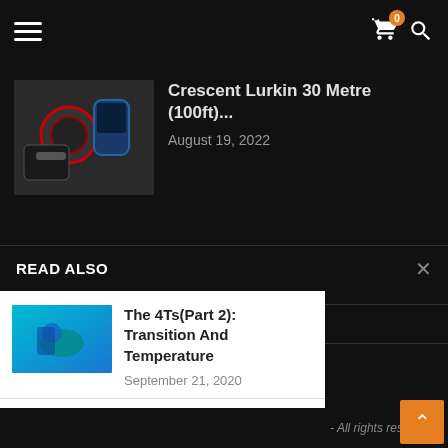Navigation bar with hamburger menu, cart (0), and search icons
Crescent Lurkin 30 Metre (100ft)...
August 19, 2022
READ ALSO
The 4Ts(Part 2): Transition And Temperature — September 21, 2020
The 4TS (Part 1) — June 24, 2020
Burning Man — July 24, 2019
- All rights reserved.